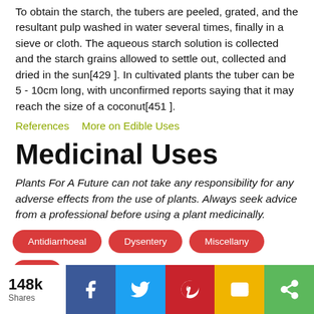To obtain the starch, the tubers are peeled, grated, and the resultant pulp washed in water several times, finally in a sieve or cloth. The aqueous starch solution is collected and the starch grains allowed to settle out, collected and dried in the sun[429 ]. In cultivated plants the tuber can be 5 - 10cm long, with unconfirmed reports saying that it may reach the size of a coconut[451 ].
References   More on Edible Uses
Medicinal Uses
Plants For A Future can not take any responsibility for any adverse effects from the use of plants. Always seek advice from a professional before using a plant medicinally.
Antidiarrhoeal
Dysentery
Miscellany
Skin
Stings
148k Shares  [Facebook] [Twitter] [Pinterest] [SMS] [Share]